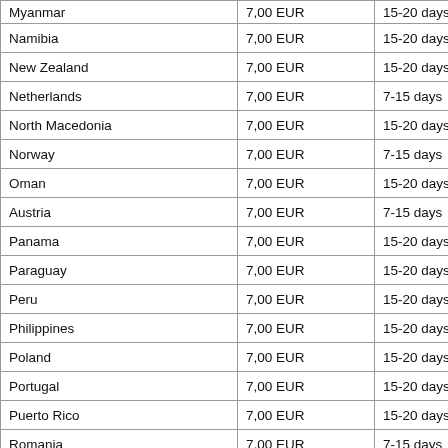| Country | Price | Delivery |
| --- | --- | --- |
| Myanmar | 7,00 EUR | 15-20 days |
| Namibia | 7,00 EUR | 15-20 days |
| New Zealand | 7,00 EUR | 15-20 days |
| Netherlands | 7,00 EUR | 7-15 days |
| North Macedonia | 7,00 EUR | 15-20 days |
| Norway | 7,00 EUR | 7-15 days |
| Oman | 7,00 EUR | 15-20 days |
| Austria | 7,00 EUR | 7-15 days |
| Panama | 7,00 EUR | 15-20 days |
| Paraguay | 7,00 EUR | 15-20 days |
| Peru | 7,00 EUR | 15-20 days |
| Philippines | 7,00 EUR | 15-20 days |
| Poland | 7,00 EUR | 15-20 days |
| Portugal | 7,00 EUR | 15-20 days |
| Puerto Rico | 7,00 EUR | 15-20 days |
| Romania | 7,00 EUR | 7-15 days |
| Russia | 7,00 EUR | 15-20 days |
| San Marino | 7,00 EUR | 15-20 days |
| Saudi Arabia | 7,00 EUR | 15-20 days |
| Sweden | 7,00 EUR | 15-20 days |
| Switzerland | 7,00 EUR | 7-15 days |
| Serbia | 7,00 EUR | 15-20 days |
| Singapore | 7,00 EUR | 15-20 days |
| Slovakia | 7,00 EUR | 15-20 days |